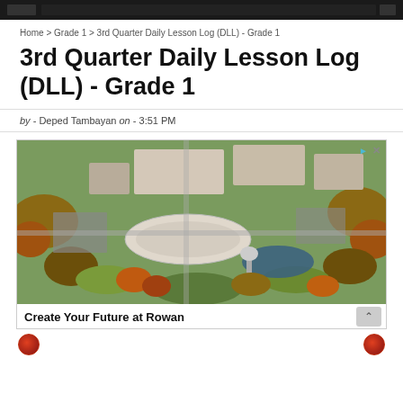Home > Grade 1 > 3rd Quarter Daily Lesson Log (DLL) - Grade 1
3rd Quarter Daily Lesson Log (DLL) - Grade 1
by - Deped Tambayan on - 3:51 PM
[Figure (photo): Aerial photograph of Rowan University campus showing buildings, parking lots, trees with autumn foliage, and a water tower. Advertisement image with 'Create Your Future at Rowan' caption.]